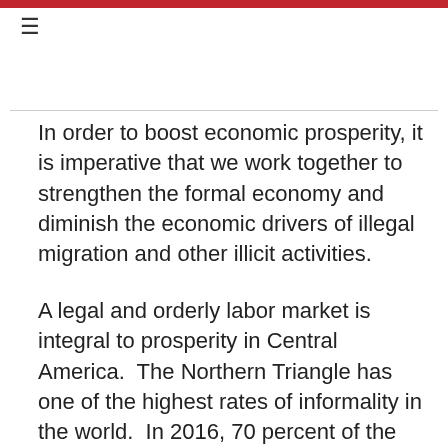≡
In order to boost economic prosperity, it is imperative that we work together to strengthen the formal economy and diminish the economic drivers of illegal migration and other illicit activities.
A legal and orderly labor market is integral to prosperity in Central America.  The Northern Triangle has one of the highest rates of informality in the world.  In 2016, 70 percent of the labor force worked in the informal sector, with little certainty as to when or how long their employment will last.  More often than not, these day-to-day jobs do not have the prospects of any upward mobility.  An important enabler is the support and the means for children to stay in school and continue their education, gain the basic skills that are necessary to participate in any economy, by doing so, the...